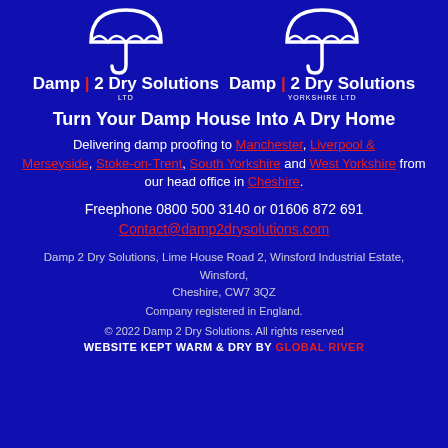[Figure (logo): Two white umbrella logos side by side: 'Damp 2 Dry Solutions LTD' and 'Damp 2 Dry Solutions YORKSHIRE LTD' on a dark blue background]
Turn Your Damp House Into A Dry Home
Delivering damp proofing to Manchester, Liverpool & Merseyside, Stoke-on-Trent, South Yorkshire and West Yorkshire from our head office in Cheshire.
Freephone 0800 500 3140 or 01606 872 691
Contact@damp2drysolutions.com
Damp 2 Dry Solutions, Lime House Road 2, Winsford Industrial Estate, Winsford, Cheshire, CW7 3QZ
Company registered in England.
© 2022 Damp 2 Dry Solutions. All rights reserved
WEBSITE KEPT WARM & DRY BY GLOBAL RIVER